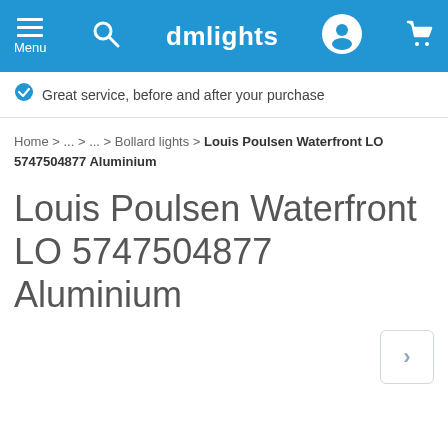dmlights — Menu, Search, User, Cart
Great service, before and after your purchase
Home > ... > ... > Bollard lights > Louis Poulsen Waterfront LO 5747504877 Aluminium
Louis Poulsen Waterfront LO 5747504877 Aluminium